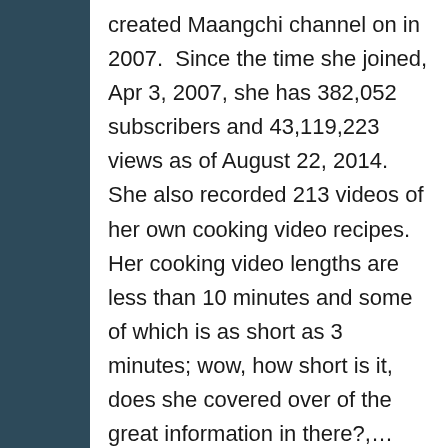created Maangchi channel on in 2007.  Since the time she joined, Apr 3, 2007, she has 382,052 subscribers and 43,119,223 views as of August 22, 2014.  She also recorded 213 videos of her own cooking video recipes.  Her cooking video lengths are less than 10 minutes and some of which is as short as 3 minutes; wow, how short is it, does she covered over of the great information in there?,…  Let see…  Now we're going to watch her 3:40